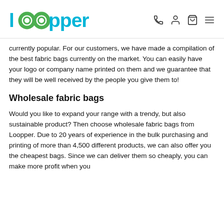[Figure (logo): Loopper brand logo with cyan/blue text and green double-circle letter O, plus navigation icons (phone, user, cart, hamburger menu)]
currently popular. For our customers, we have made a compilation of the best fabric bags currently on the market. You can easily have your logo or company name printed on them and we guarantee that they will be well received by the people you give them to!
Wholesale fabric bags
Would you like to expand your range with a trendy, but also sustainable product? Then choose wholesale fabric bags from Loopper. Due to 20 years of experience in the bulk purchasing and printing of more than 4,500 different products, we can also offer you the cheapest bags. Since we can deliver them so cheaply, you can make more profit when you